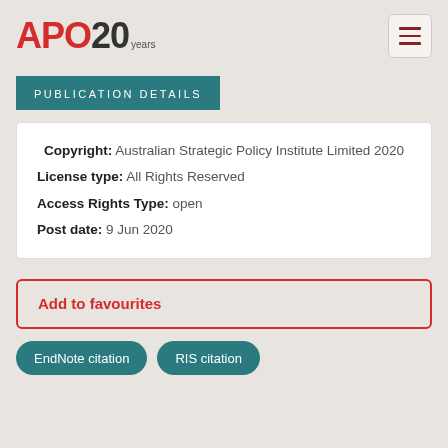APO 20 years
PUBLICATION DETAILS
Copyright: Australian Strategic Policy Institute Limited 2020
License type: All Rights Reserved
Access Rights Type: open
Post date: 9 Jun 2020
Add to favourites
EndNote citation   RIS citation